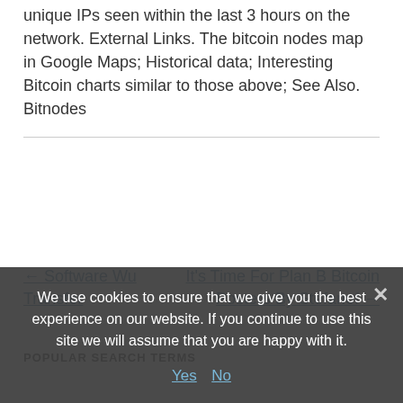unique IPs seen within the last 3 hours on the network. External Links. The bitcoin nodes map in Google Maps; Historical data; Interesting Bitcoin charts similar to those above; See Also. Bitnodes
← Software Wu Transfer
It's Time For Plan B Bitcoin Posters By Stefanof →
POPULAR SEARCH TERMS
We use cookies to ensure that we give you the best experience on our website. If you continue to use this site we will assume that you are happy with it.
Yes   No